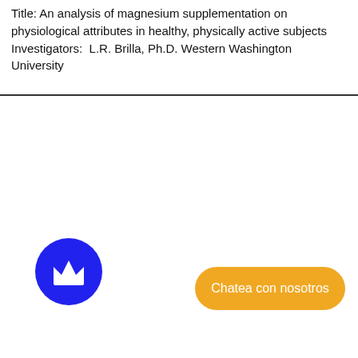Title: An analysis of magnesium supplementation on physiological attributes in healthy, physically active subjects Investigators:  L.R. Brilla, Ph.D. Western Washington University
[Figure (logo): Blue circle with a white crown icon inside]
[Figure (other): Orange rounded rectangle button with white text 'Chatea con nosotros']